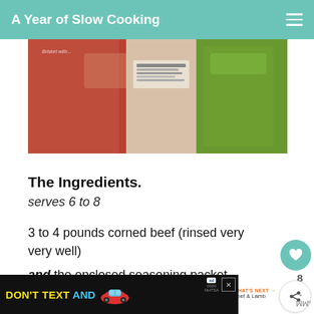A Year of Slow Cooking
[Figure (photo): Photo of packaged corned beef with barcode and green vegetable packaging visible]
The Ingredients.
serves 6 to 8
3 to 4 pounds corned beef (rinsed very very well)
and the enclosed seasoning packet
1/3 cup brown sugar
[Figure (screenshot): DON'T TEXT AND drive advertisement banner with car graphic and NHTSA logo]